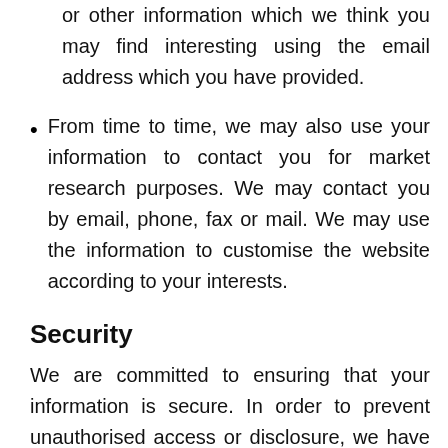emails about new products, special offers or other information which we think you may find interesting using the email address which you have provided.
From time to time, we may also use your information to contact you for market research purposes. We may contact you by email, phone, fax or mail. We may use the information to customise the website according to your interests.
Security
We are committed to ensuring that your information is secure. In order to prevent unauthorised access or disclosure, we have put in place suitable physical, electronic and managerial procedures to safeguard and